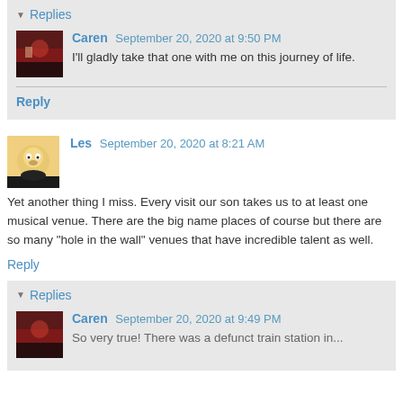Replies
Caren September 20, 2020 at 9:50 PM
I'll gladly take that one with me on this journey of life.
Reply
Les September 20, 2020 at 8:21 AM
Yet another thing I miss. Every visit our son takes us to at least one musical venue. There are the big name places of course but there are so many "hole in the wall" venues that have incredible talent as well.
Reply
Replies
Caren September 20, 2020 at 9:49 PM
So very true! There was a defunct train station in...